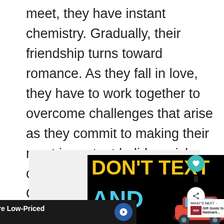meet, they have instant chemistry. Gradually, their friendship turns toward romance. As they fall in love, they have to work together to overcome challenges that arise as they commit to making their most important holiday wish come true: to spend every Christmas together for the rest of their lives.
[Figure (screenshot): Advertisement: Black background with yellow bold text 'DON'T TEXT' and blue text 'AND' alongside a red cartoon car illustration. Below is a Lidl grocery advertisement banner.]